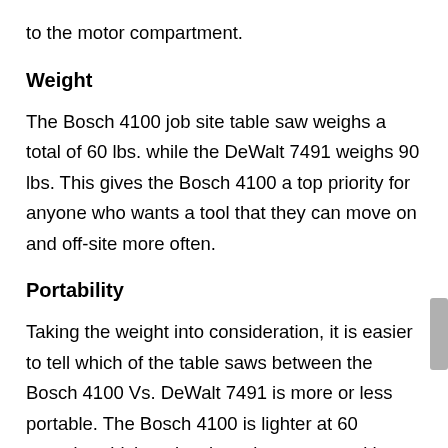to the motor compartment.
Weight
The Bosch 4100 job site table saw weighs a total of 60 lbs. while the DeWalt 7491 weighs 90 lbs. This gives the Bosch 4100 a top priority for anyone who wants a tool that they can move on and off-site more often.
Portability
Taking the weight into consideration, it is easier to tell which of the table saws between the Bosch 4100 Vs. DeWalt 7491 is more or less portable. The Bosch 4100 is lighter at 60 pounds, which makes it easier to move with from one job site to the other. For a woodworker